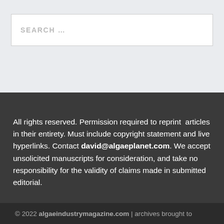SEARCH …
All rights reserved. Permission required to reprint articles in their entirety. Must include copyright statement and live hyperlinks. Contact david@algaeplanet.com. We accept unsolicited manuscripts for consideration, and take no responsibility for the validity of claims made in submitted editorial.
© 2022 algaeindustrymagazine.com | archives brought to